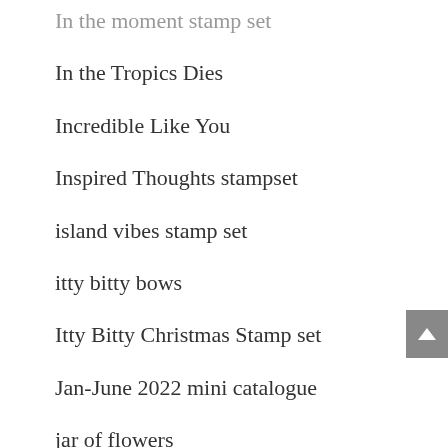In the moment stamp set
In the Tropics Dies
Incredible Like You
Inspired Thoughts stampset
island vibes stamp set
itty bitty bows
Itty Bitty Christmas Stamp set
Jan-June 2022 mini catalogue
jar of flowers
Jar of Love